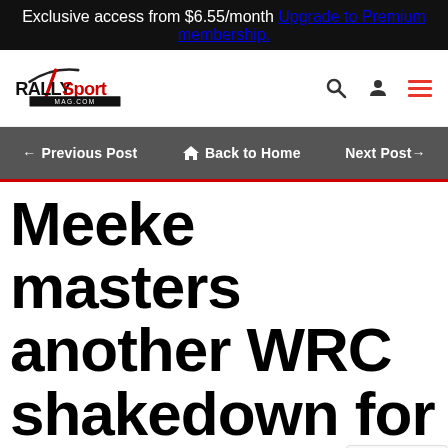Exclusive access from $6.55/month
Upgrade to Premium membership.
[Figure (logo): RallySport Mag.com logo with search, user, and menu icons]
← Previous Post   🏠 Back to Home   Next Post→
Meeke masters another WRC shakedown for Toyota